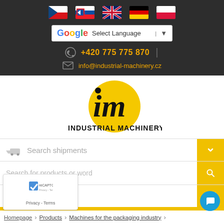[Figure (screenshot): Row of 5 country flags: Czech Republic, Slovakia, United Kingdom, Germany, Poland]
[Figure (screenshot): Google Translate widget showing 'Select Language' dropdown]
+420 775 775 870
info@industrial-machinery.cz
[Figure (logo): Industrial Machinery logo with yellow circle and 'im' text, INDUSTRIAL MACHINERY text below]
Search shipments
Search for products or word
MENU
Homepage  >  Products  >  Machines for the packaging industry  >